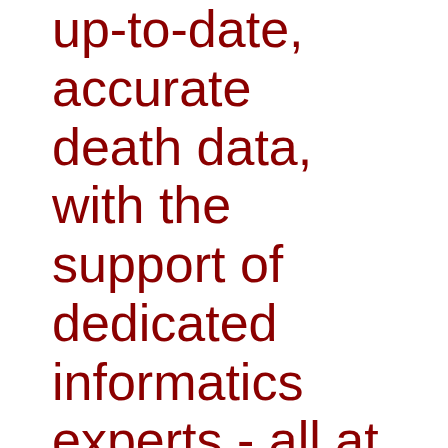up-to-date, accurate death data, with the support of dedicated informatics experts - all at no cost to them."
Russell Luepker, MD, MS